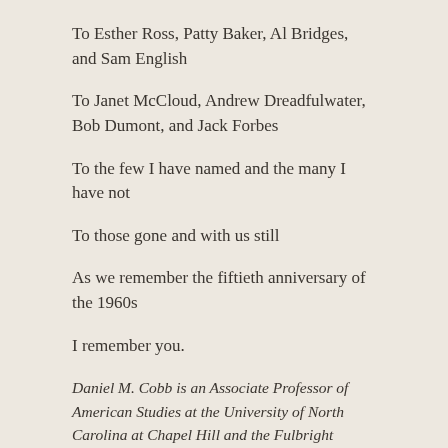To Esther Ross, Patty Baker, Al Bridges, and Sam English
To Janet McCloud, Andrew Dreadfulwater, Bob Dumont, and Jack Forbes
To the few I have named and the many I have not
To those gone and with us still
As we remember the fiftieth anniversary of the 1960s
I remember you.
Daniel M. Cobb is an Associate Professor of American Studies at the University of North Carolina at Chapel Hill and the Fulbright Bicentennial Chair in North American Studies, University of Helsinki, 2017-2018
Tagged #metoo, Native American Rights, Protest, Say My